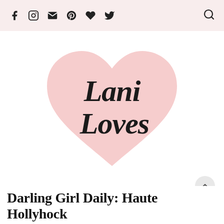Social media icons and search icon header bar
[Figure (logo): Lani Loves blog logo: cursive script text 'Lani Loves' over a large pink heart shape]
MENU ≡
Darling Girl Daily: Haute Hollyhock